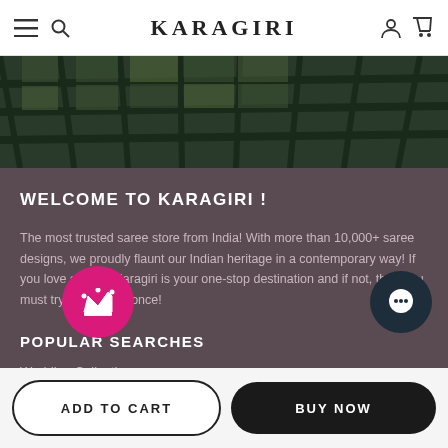KARAGIRI
[Figure (photo): Top-down view of a green geometric tile/grid pattern]
WELCOME TO KARAGIRI !
The most trusted saree store from India! With more than 10,000+ saree designs, we proudly flaunt our Indian heritage in a contemporary way! If you love sarees, Karagiri is your one-stop destination and if not, then you must try KARAGIRI once!
POPULAR SEARCHES
Wedding Collection